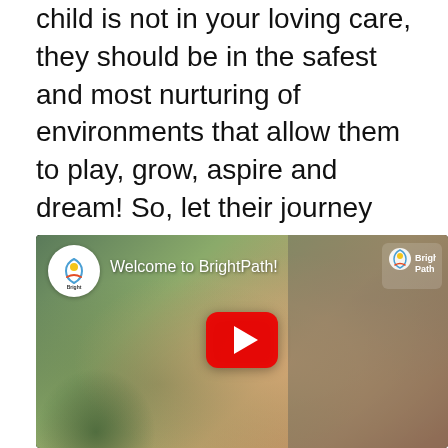child is not in your loving care, they should be in the safest and most nurturing of environments that allow them to play, grow, aspire and dream! So, let their journey begin here, with us.
[Figure (screenshot): YouTube video embed thumbnail showing a woman and child smiling, with BrightPath logo, title 'Welcome to BrightPath!' and a red play button]